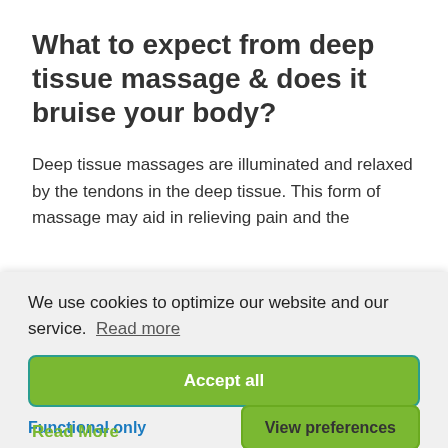What to expect from deep tissue massage & does it bruise your body?
Deep tissue massages are illuminated and relaxed by the tendons in the deep tissue. This form of massage may aid in relieving pain and the
We use cookies to optimize our website and our service.  Read more
Accept all
Functional only
View preferences
Read More